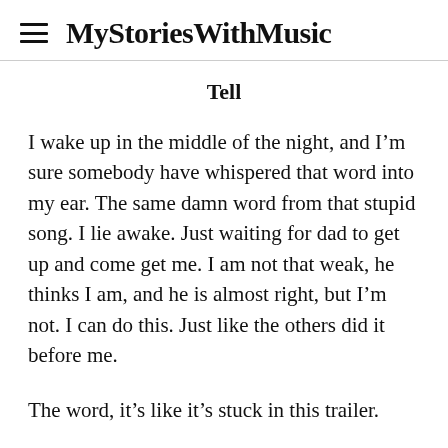MyStoriesWithMusic
Tell
I wake up in the middle of the night, and I'm sure somebody have whispered that word into my ear. The same damn word from that stupid song. I lie awake. Just waiting for dad to get up and come get me. I am not that weak, he thinks I am, and he is almost right, but I'm not. I can do this. Just like the others did it before me.
The word, it's like it's stuck in this trailer.